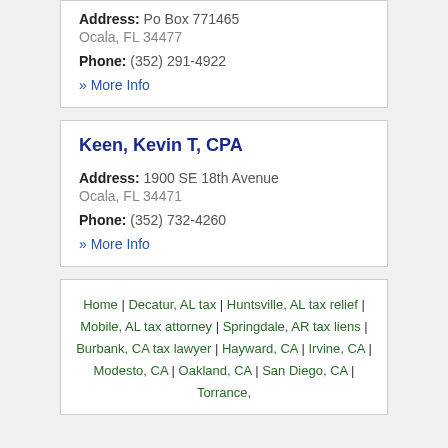Address: Po Box 771465
Ocala, FL 34477
Phone: (352) 291-4922
» More Info
Keen, Kevin T, CPA
Address: 1900 SE 18th Avenue
Ocala, FL 34471
Phone: (352) 732-4260
» More Info
Home | Decatur, AL tax | Huntsville, AL tax relief | Mobile, AL tax attorney | Springdale, AR tax liens | Burbank, CA tax lawyer | Hayward, CA | Irvine, CA | Modesto, CA | Oakland, CA | San Diego, CA | Torrance,